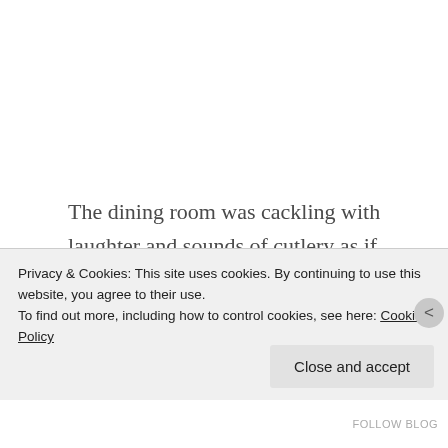The dining room was cackling with laughter and sounds of cutlery as if there was a rowdy party in progress. Arnav walked slowly towards the noise and stopped short of the sight in front of him. Maya had two spoons stuck on each end of her mouth and was grunting and laughing intermittently to a solemn six year old who
Privacy & Cookies: This site uses cookies. By continuing to use this website, you agree to their use.
To find out more, including how to control cookies, see here: Cookie Policy
Close and accept